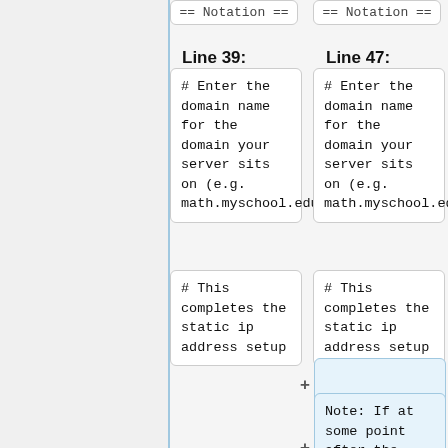== Notation ==
== Notation ==
Line 39:
Line 47:
# Enter the domain name for the domain your server sits on (e.g. math.myschool.edu)
# Enter the domain name for the domain your server sits on (e.g. math.myschool.edu)
# This completes the static ip address setup
# This completes the static ip address setup
Note: If at some point after the installation you want to change the ip address look at the